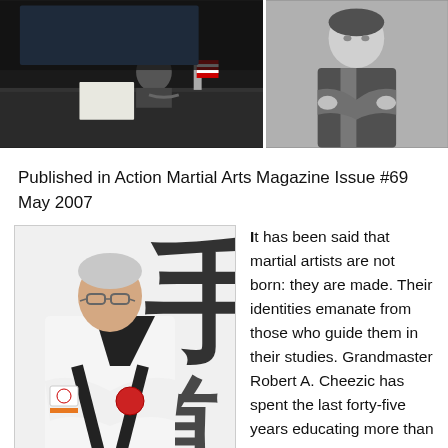[Figure (photo): Two photos side by side at top: left photo shows a person at a desk with an American flag, right photo shows a person with arms crossed in black and white]
Published in Action Martial Arts Magazine Issue #69 May 2007
[Figure (photo): A grandmaster in white martial arts uniform with black belt, arms crossed, standing in front of a banner with Asian calligraphy]
It has been said that martial artists are not born: they are made. Their identities emanate from those who guide them in their studies. Grandmaster Robert A. Cheezic has spent the last forty-five years educating more than